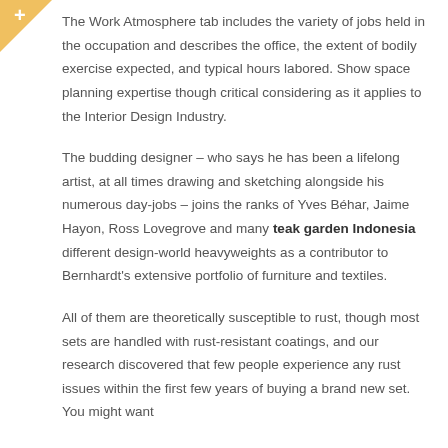[Figure (other): Orange/yellow triangle in top-left corner with a plus sign]
The Work Atmosphere tab includes the variety of jobs held in the occupation and describes the office, the extent of bodily exercise expected, and typical hours labored. Show space planning expertise though critical considering as it applies to the Interior Design Industry.
The budding designer – who says he has been a lifelong artist, at all times drawing and sketching alongside his numerous day-jobs – joins the ranks of Yves Béhar, Jaime Hayon, Ross Lovegrove and many teak garden Indonesia different design-world heavyweights as a contributor to Bernhardt's extensive portfolio of furniture and textiles.
All of them are theoretically susceptible to rust, though most sets are handled with rust-resistant coatings, and our research discovered that few people experience any rust issues within the first few years of buying a brand new set. You might want